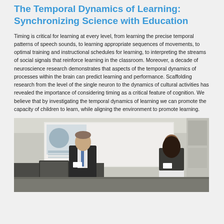The Temporal Dynamics of Learning: Synchronizing Science with Education
Timing is critical for learning at every level, from learning the precise temporal patterns of speech sounds, to learning appropriate sequences of movements, to optimal training and instructional schedules for learning, to interpreting the streams of social signals that reinforce learning in the classroom. Moreover, a decade of neuroscience research demonstrates that aspects of the temporal dynamics of processes within the brain can predict learning and performance. Scaffolding research from the level of the single neuron to the dynamics of cultural activities has revealed the importance of considering timing as a critical feature of cognition. We believe that by investigating the temporal dynamics of learning we can promote the capacity of children to learn, while aligning the environment to promote learning.
[Figure (photo): Two people at a podium in a conference room setting. A man in a dark suit on the left leans over a laptop, and a woman on the right stands with a name tag. A projection screen and presentation slides are visible in the background.]